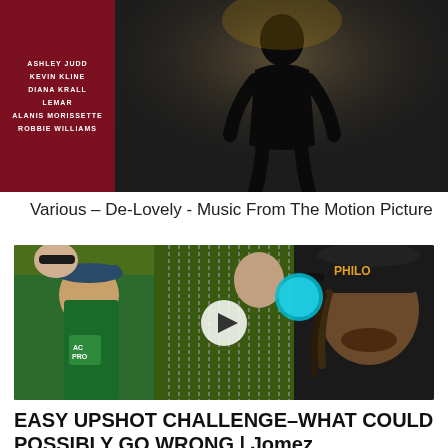[Figure (photo): Album cover for 'De-Lovely - Music From The Motion Picture' showing a dark maroon/red panel on the left with artist names (Ashley Judd, Kevin Kline, Diana Krall, Lemar, Alanis Morissette, Robbie Williams) and a silhouette figure on the right against a dark background.]
Various – De-Lovely - Music From The Motion Picture
[Figure (photo): Video thumbnail showing a group of people playing disc golf. A man wearing a PHILO hat on the right is smiling, another man on the left wearing a numbered tag is laughing, a young man in the background is holding a blue disc near a disc golf basket/chains. Play button overlay in the center.]
EASY UPSHOT CHALLENGE–WHAT COULD POSSIBLY GO WRONG | Jomez